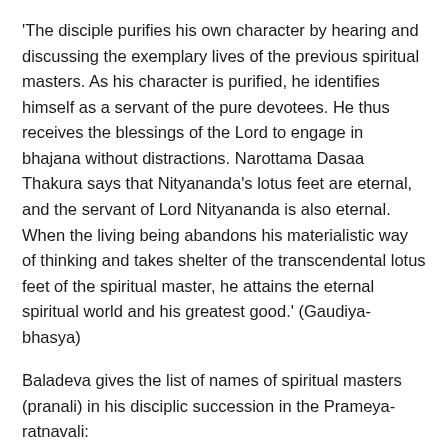'The disciple purifies his own character by hearing and discussing the exemplary lives of the previous spiritual masters. As his character is purified, he identifies himself as a servant of the pure devotees. He thus receives the blessings of the Lord to engage in bhajana without distractions. Narottama Dasaa Thakura says that Nityananda's lotus feet are eternal, and the servant of Lord Nityananda is also eternal. When the living being abandons his materialistic way of thinking and takes shelter of the transcendental lotus feet of the spiritual master, he attains the eternal spiritual world and his greatest good.' (Gaudiya-bhasya)
Baladeva gives the list of names of spiritual masters (pranali) in his disciplic succession in the Prameya-ratnavali:
sri-krsna-brahma-devarsi-badarayana-samjnakan